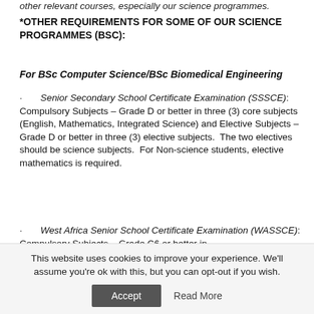other relevant courses, especially our science programmes.
*OTHER REQUIREMENTS FOR SOME OF OUR SCIENCE PROGRAMMES (BSC):
For BSc Computer Science/BSc Biomedical Engineering
· Senior Secondary School Certificate Examination (SSSCE): Compulsory Subjects – Grade D or better in three (3) core subjects (English, Mathematics, Integrated Science) and Elective Subjects – Grade D or better in three (3) elective subjects. The two electives should be science subjects. For Non-science students, elective mathematics is required.
· West Africa Senior School Certificate Examination (WASSCE): Compulsory Subjects – Grade C6 or better in
This website uses cookies to improve your experience. We'll assume you're ok with this, but you can opt-out if you wish. Accept Read More